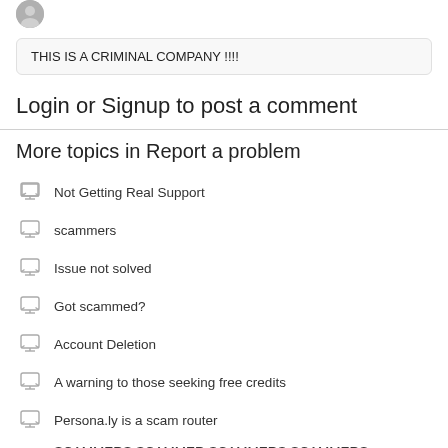THIS IS A CRIMINAL COMPANY !!!!
Login or Signup to post a comment
More topics in Report a problem
Not Getting Real Support
scammers
Issue not solved
Got scammed?
Account Deletion
A warning to those seeking free credits
Persona.ly is a scam router
SCAMMERS SCAMMER SCAMMERS SCAMMERS SCAMMERS
DELETE MY INFO DUMBFUCKS
See all 21 topics